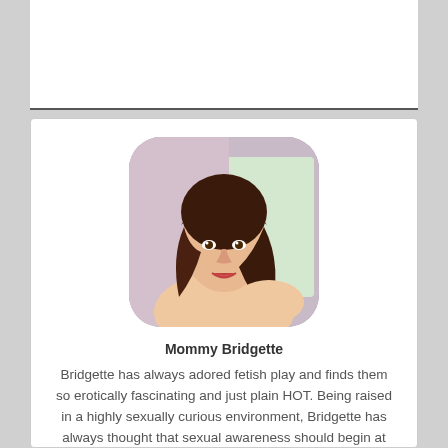[Figure (photo): Rounded rectangle profile photo of a woman with dark hair, smiling over her shoulder against a light background.]
Mommy Bridgette
Bridgette has always adored fetish play and finds them so erotically fascinating and just plain HOT. Being raised in a highly sexually curious environment, Bridgette has always thought that sexual awareness should begin at home. To that endeavor, she has sought to quench her thirst and appetites for not just fetishes, but for incestuous play as well. Being a phone sex MILF and Mommy has been one of the best ways to sate those